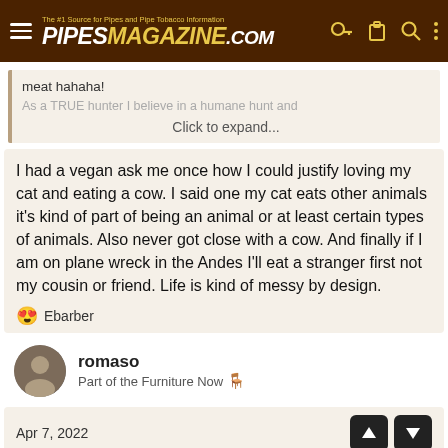PIPESMAGAZINE.COM — The #1 Source for Pipes and Pipe Tobacco Information
meat hahaha!
As a TRUE hunter I believe in a humane hunt and
Click to expand...
I had a vegan ask me once how I could justify loving my cat and eating a cow. I said one my cat eats other animals it's kind of part of being an animal or at least certain types of animals. Also never got close with a cow. And finally if I am on plane wreck in the Andes I'll eat a stranger first not my cousin or friend. Life is kind of messy by design.
😍 Ebarber
romaso
Part of the Furniture Now
Apr 7, 2022